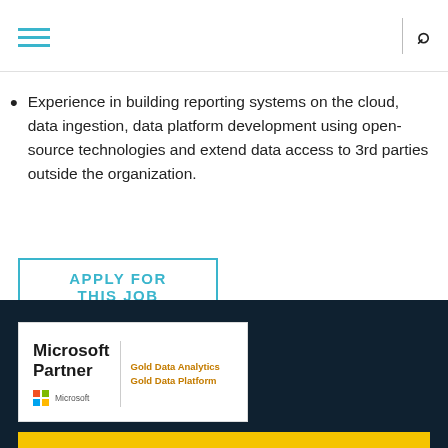Navigation header with hamburger menu and search icon
Experience in building reporting systems on the cloud, data ingestion, data platform development using open-source technologies and extend data access to 3rd parties outside the organization.
APPLY FOR THIS JOB
[Figure (logo): Microsoft Partner logo with Gold Data Analytics and Gold Data Platform certifications]